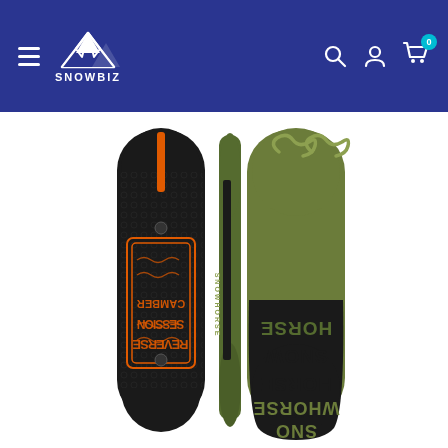SNOWBIZ — navigation header with logo, search, account, and cart icons
[Figure (photo): Product photo showing two snowboards side by side. Left board: black with orange vertical stripe and orange/black graphic text design in the center. Right board (shown from two angles): olive green top with large black wavy 'SNOWHORSE' lettering running vertically, and a black base.]